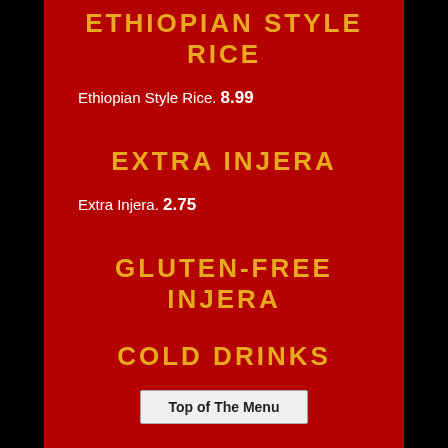ETHIOPIAN STYLE RICE
Ethiopian Style Rice. 8.99
EXTRA INJERA
Extra Injera. 2.75
GLUTEN-FREE INJERA
Gluten free Injera. 3.00
COLD DRINKS
Top of The Menu